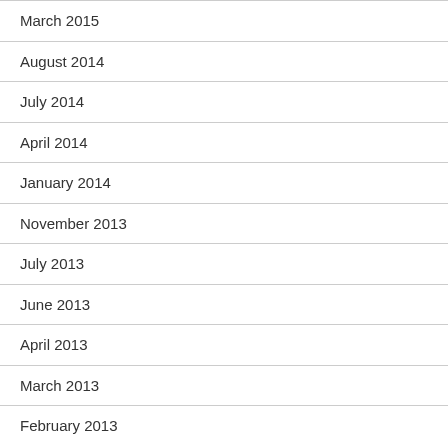March 2015
August 2014
July 2014
April 2014
January 2014
November 2013
July 2013
June 2013
April 2013
March 2013
February 2013